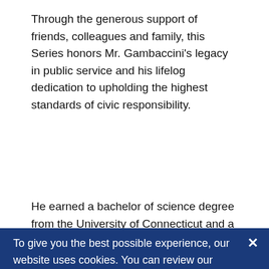Through the generous support of friends, colleagues and family, this Series honors Mr. Gambaccini's legacy in public service and his lifelog dedication to upholding the highest standards of civic responsibility.
He earned a bachelor of science degree from the University of Connecticut and a Master in Public...
To give you the best possible experience, our website uses cookies. You can review our privacy policy to find out more about the cookies we use and how to adjust your browser settings to block cookies. If you close this box or continue browsing our website, you accept our use of cookies.
Accept